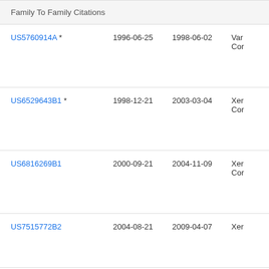| Family To Family Citations |  |  |  |
| --- | --- | --- | --- |
| US5760914A * | 1996-06-25 | 1998-06-02 | Var
Cor |
| US6529643B1 * | 1998-12-21 | 2003-03-04 | Xer
Cor |
| US6816269B1 | 2000-09-21 | 2004-11-09 | Xer
Cor |
| US7515772B2 | 2004-08-21 | 2009-04-07 | Xer |
| US7911652B2 | 2005-09-08 | 2011-03-22 | Xer |